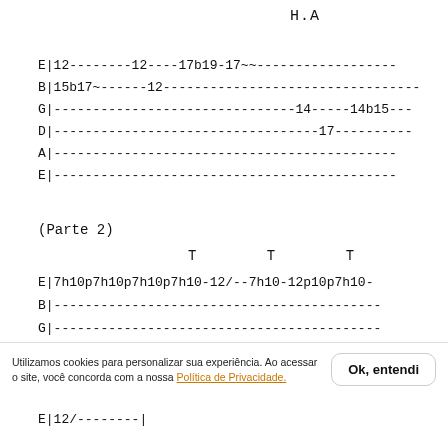H.A
E|12--------12----17b19-17~~------------------
B|15b17~------12---------------------------------
G|-------------------------------14-----14b15---
D|----------------------------------17----------
A|--------------------------------------------
E|--------------------------------------------
(Parte 2)
T              T              T
E|7h10p7h10p7h10p7h10-12/--7h10-12p10p7h10-
B|------------------------------------------
G|------------------------------------------
Utilizamos cookies para personalizar sua experiência. Ao acessar o site, você concorda com a nossa Política de Privacidade.
Ok, entendi
E|12/--------|